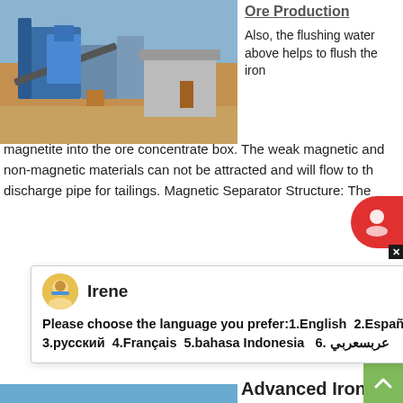[Figure (photo): Industrial mining/crushing equipment site with machinery, conveyors, and vehicles on sandy ground]
Ore Production

Also, the flushing water above helps to flush the iron magnetite into the ore concentrate box. The weak magnetic and non-magnetic materials can not be attracted and will flow to the discharge pipe for tailings. Magnetic Separator Structure: The
[Figure (screenshot): Chat popup with avatar of Irene, language selection prompt: Please choose the language you prefer:1.English 2.Español 3.русский 4.Français 5.bahasa Indonesia 6. عربسعربي]
[Figure (photo): Industrial iron separation machinery with large cylindrical tanks, pipes and workers, dated 2012/09/11]
Advanced Iron Separation Machine Products
Main Feautures of Silica Sand Iron Ore Wet Magnetic Separator, Magnetic Separator with Best Magnetic Separator